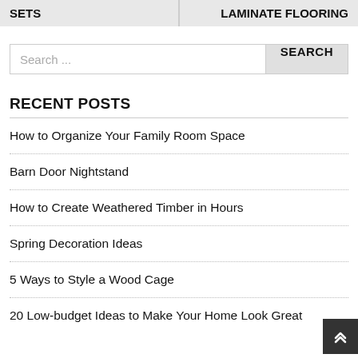SETS | LAMINATE FLOORING
Search ...
RECENT POSTS
How to Organize Your Family Room Space
Barn Door Nightstand
How to Create Weathered Timber in Hours
Spring Decoration Ideas
5 Ways to Style a Wood Cage
20 Low-budget Ideas to Make Your Home Look Great